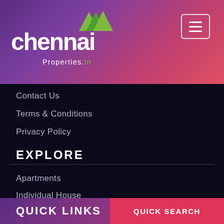chennai Properties.in
Contact Us
Terms & Conditions
Privacy Policy
EXPLORE
Apartments
Individual House
Land / Plots
Ongoing projects
Commercial property
QUICK LINKS
QUICK SEARCH